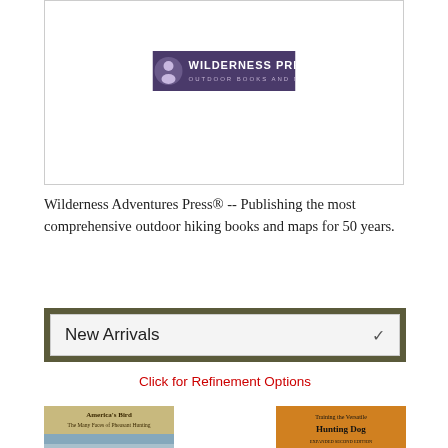[Figure (logo): Wilderness Press logo banner — dark background with a profile icon and text 'WILDERNESS PRESS OUTDOOR BOOKS AND MAPS']
Wilderness Adventures Press® -- Publishing the most comprehensive outdoor hiking books and maps for 50 years.
New Arrivals
Click for Refinement Options
[Figure (photo): Book cover: America's Bird - The Many Faces of Pheasant Hunting]
[Figure (photo): Book cover: Training the Versatile Hunting Dog, Expanded Second Edition]